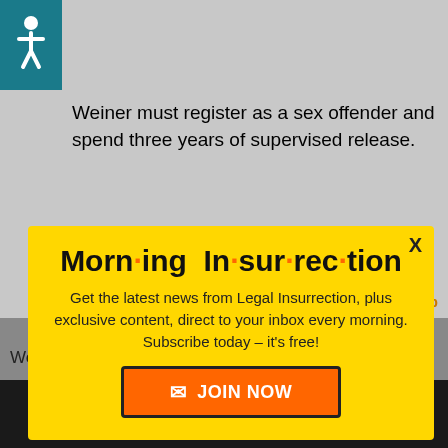[Figure (illustration): Accessibility wheelchair icon in teal/dark cyan square]
Weiner must register as a sex offender and spend three years of supervised release.
[Figure (screenshot): Morning Insurrection newsletter modal popup with yellow background. Title: 'Morn·ing In·sur·rec·tion' with orange dots. Text: 'Get the latest news from Legal Insurrection, plus exclusive content, direct to your inbox every morning. Subscribe today – it's free!' Orange JOIN NOW button with envelope icon. X close button top right.]
her pornography.
Welco
[Figure (logo): Fiverr logo in white on dark bar with green Start Now button]